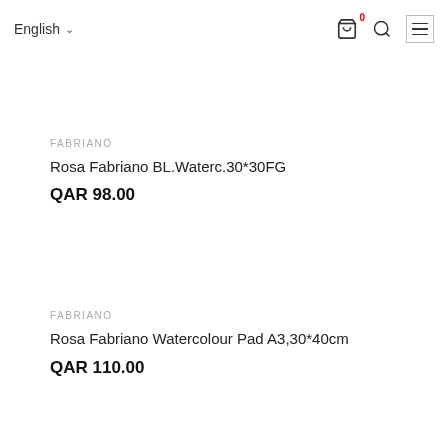English
FABRIANO
Rosa Fabriano BL.Waterc.30*30FG
QAR 98.00
FABRIANO
Rosa Fabriano Watercolour Pad A3,30*40cm
QAR 110.00